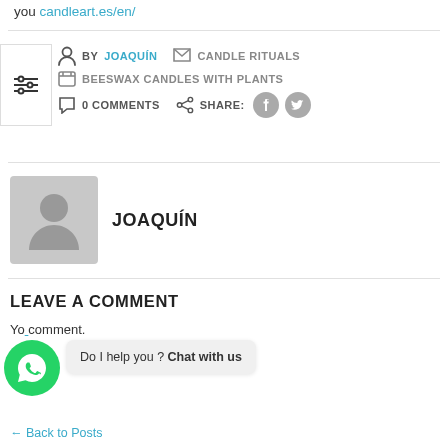you candleart.es/en/
BY JOAQUÍN   CANDLE RITUALS   BEESWAX CANDLES WITH PLANTS   0 COMMENTS   SHARE:
JOAQUÍN
LEAVE A COMMENT
You ... comment.
Do I help you ? Chat with us
Back to Posts